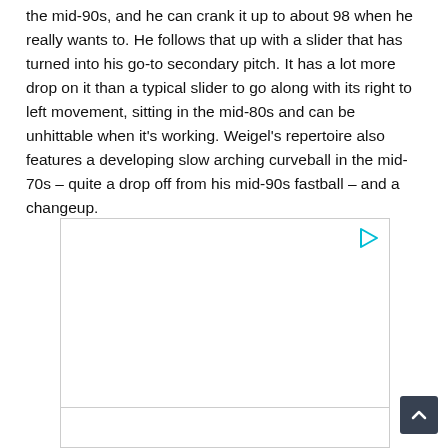the mid-90s, and he can crank it up to about 98 when he really wants to. He follows that up with a slider that has turned into his go-to secondary pitch. It has a lot more drop on it than a typical slider to go along with its right to left movement, sitting in the mid-80s and can be unhittable when it's working. Weigel's repertoire also features a developing slow arching curveball in the mid-70s – quite a drop off from his mid-90s fastball – and a changeup.
[Figure (other): Advertisement placeholder box with a play button icon in the top right corner]